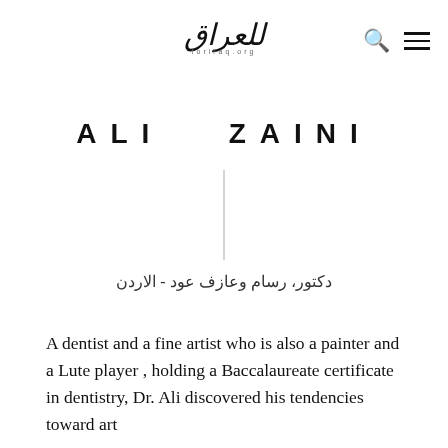[Figure (logo): Arabic logo with text and small subtitle 'foriraq.org']
ALI ZAINI
دكتور، رسام وعازف عود - الاردن
A dentist and a fine artist who is also a painter and a Lute player , holding a Baccalaureate certificate in dentistry, Dr. Ali discovered his tendencies toward art